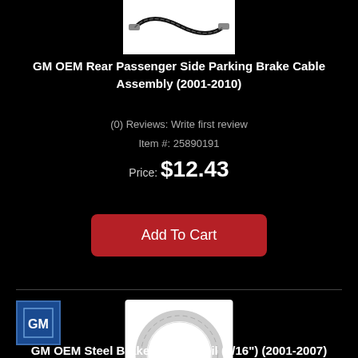[Figure (photo): Product image of GM OEM Rear Passenger Side Parking Brake Cable Assembly showing a black cable with metal ends, on white background]
GM OEM Rear Passenger Side Parking Brake Cable Assembly (2001-2010)
(0) Reviews: Write first review
Item #: 25890191
Price: $12.43
Add To Cart
[Figure (logo): GM logo - blue square with GM letters in white]
[Figure (photo): Product image of GM OEM Steel Brake Tubing Coil showing a coiled silver steel tube on white background]
GM OEM Steel Brake Tubing Coil (3/16") (2001-2007)